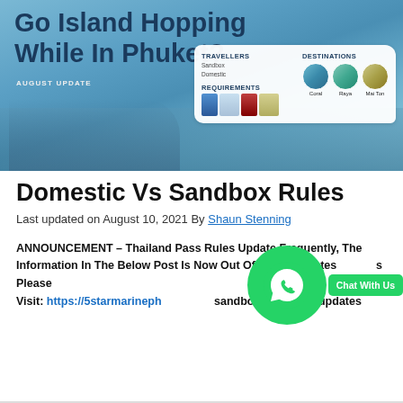[Figure (infographic): Hero banner image for island hopping in Phuket. Blue ocean background with a boat visible. Text reads 'Go Island Hopping While In Phuket?' with 'AUGUST UPDATE' label. An info card shows TRAVELLERS (Sandbox, Domestic), DESTINATIONS (Coral, Raya, Mai Ton circles), and REQUIREMENTS (icons for phone, card, passport, document).]
Domestic Vs Sandbox Rules
Last updated on August 10, 2021 By Shaun Stenning
ANNOUNCEMENT – Thailand Pass Rules Update Frequently, The Information In The Below Post Is Now Out Of Date For Latest News Please Visit: https://5starmarinephuket.com/phuket-sandbox-rules-and-updates